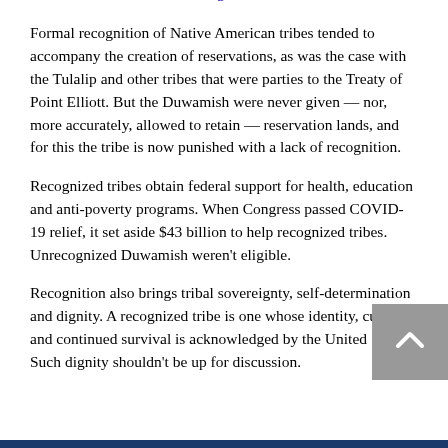comes to overdue federal recognition.
Formal recognition of Native American tribes tended to accompany the creation of reservations, as was the case with the Tulalip and other tribes that were parties to the Treaty of Point Elliott. But the Duwamish were never given — nor, more accurately, allowed to retain — reservation lands, and for this the tribe is now punished with a lack of recognition.
Recognized tribes obtain federal support for health, education and anti-poverty programs. When Congress passed COVID-19 relief, it set aside $43 billion to help recognized tribes. Unrecognized Duwamish weren't eligible.
Recognition also brings tribal sovereignty, self-determination and dignity. A recognized tribe is one whose identity, culture and continued survival is acknowledged by the United States. Such dignity shouldn't be up for discussion.